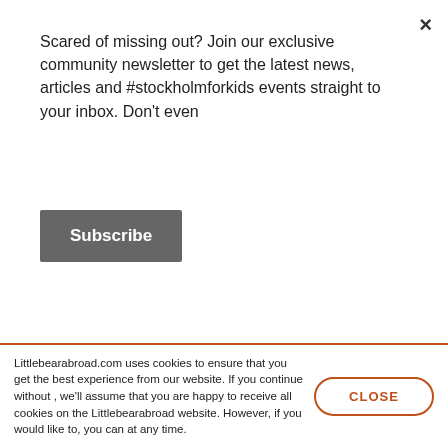Scared of missing out? Join our exclusive community newsletter to get the latest news, articles and #stockholmforkids events straight to your inbox. Don't even
Subscribe
7. Proof of lease or purchase of accommodation in Sweden.
8. Proof of employment (if you have it) in Sweden for example, Company employment certificate or signed contract.
Littlebearabroad.com uses cookies to ensure that you get the best experience from our website. If you continue without , we'll assume that you are happy to receive all cookies on the Littlebearabroad website. However, if you would like to, you can at any time.
CLOSE